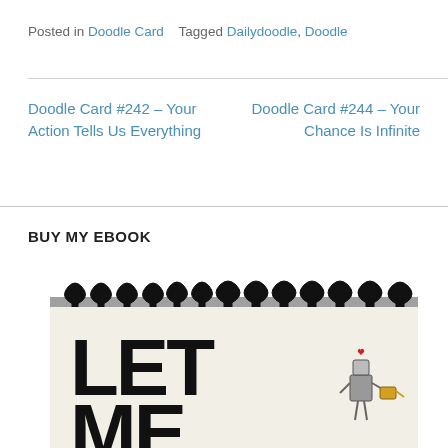Posted in Doodle Card   Tagged Dailydoodle, Doodle
Doodle Card #242 – Your Action Tells Us Everything
Doodle Card #244 – Your Chance Is Infinite
BUY MY EBOOK
[Figure (photo): A spiral-bound notebook ebook cover showing large bold text 'LET ME...' with a small illustrated robot figure holding a watering can on the right side. The notebook has a grey spiral binding at the top and a cream/off-white cover.]